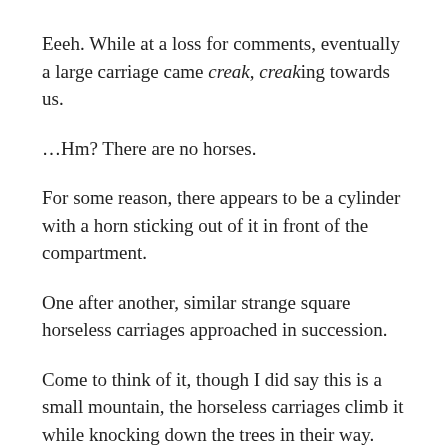Eeeh. While at a loss for comments, eventually a large carriage came creak, creaking towards us.
…Hm? There are no horses.
For some reason, there appears to be a cylinder with a horn sticking out of it in front of the compartment.
One after another, similar strange square horseless carriages approached in succession.
Come to think of it, though I did say this is a small mountain, the horseless carriages climb it while knocking down the trees in their way.